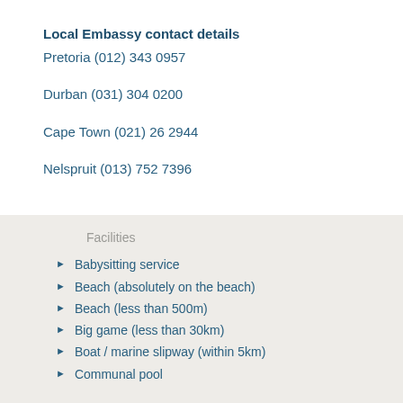Local Embassy contact details
Pretoria (012) 343 0957
Durban (031) 304 0200
Cape Town (021) 26 2944
Nelspruit (013) 752 7396
Facilities
Babysitting service
Beach (absolutely on the beach)
Beach (less than 500m)
Big game (less than 30km)
Boat / marine slipway (within 5km)
Communal pool